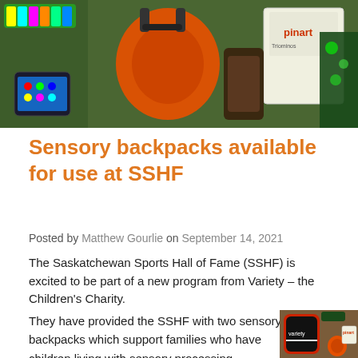[Figure (photo): Top banner photo showing sensory backpack contents including orange ear muffs, colorful brushes, a smartphone, a Pinart toy box, and other sensory items.]
Sensory backpacks available for use at SSHF
Posted by Matthew Gourlie on September 14, 2021
The Saskatchewan Sports Hall of Fame (SSHF) is excited to be part of a new program from Variety – the Children's Charity.
They have provided the SSHF with two sensory backpacks which support families who have children living with sensory processing disabilities (i.e. autism). The backpacks feature a
[Figure (photo): Photo showing a Variety branded black and red backpack alongside sensory items including orange ear muffs, colorful toys, a smartphone, and a Pinart toy box.]